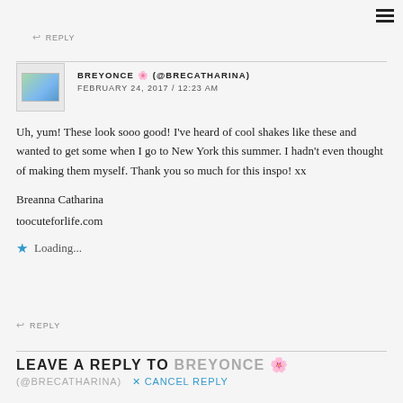REPLY
BREYONCE 🌸 (@BRECATHARINA)
FEBRUARY 24, 2017 / 12:23 AM
Uh, yum! These look sooo good! I've heard of cool shakes like these and wanted to get some when I go to New York this summer. I hadn't even thought of making them myself. Thank you so much for this inspo! xx

Breanna Catharina
toocuteforlife.com
Loading...
REPLY
LEAVE A REPLY TO BREYONCE 🌸 (@BRECATHARINA) ✕ CANCEL REPLY